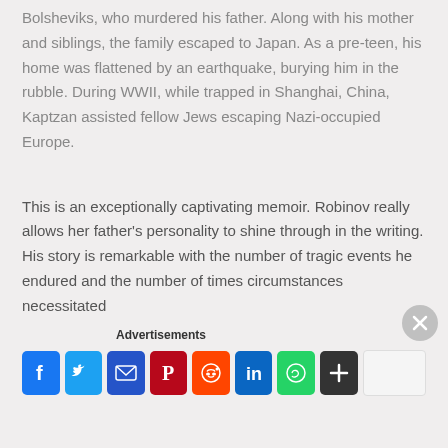Bolsheviks, who murdered his father. Along with his mother and siblings, the family escaped to Japan. As a pre-teen, his home was flattened by an earthquake, burying him in the rubble. During WWII, while trapped in Shanghai, China, Kaptzan assisted fellow Jews escaping Nazi-occupied Europe.
This is an exceptionally captivating memoir. Robinov really allows her father's personality to shine through in the writing. His story is remarkable with the number of tragic events he endured and the number of times circumstances necessitated
Advertisements